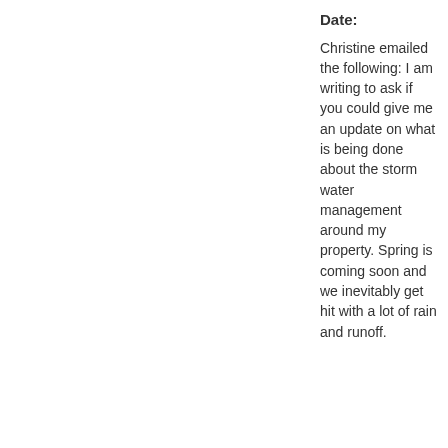Date:
Christine emailed the following: I am writing to ask if you could give me an update on what is being done about the storm water management around my property. Spring is coming soon and we inevitably get hit with a lot of rain and runoff.